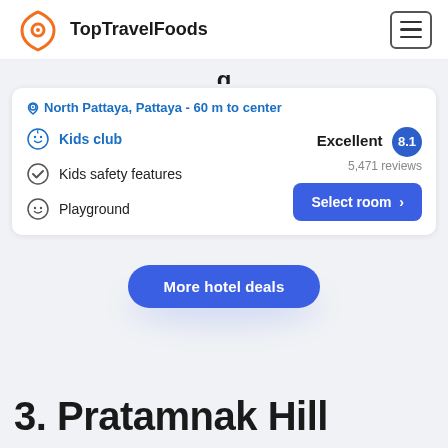TopTravelFoods
North Pattaya, Pattaya - 60 m to center
Kids club
Kids safety features
Playground
Excellent 8.1
5,471 reviews
Select room >
More hotel deals
3. Pratamnak Hill